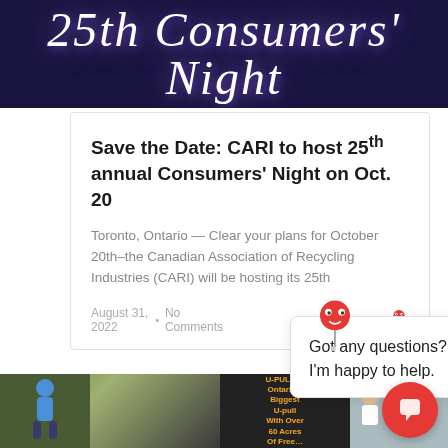[Figure (photo): Dark banner with '25th Consumers Night' text in white italic script on dark purple/black background with light effects]
Save the Date: CARI to host 25th annual Consumers' Night on Oct. 20
Toronto, Ontario — Clear your plans for October 20th–the Canadian Association of Recycling Industries (CARI) will be hosting its 25th
August 31, 2022  •  No Comments
[Figure (screenshot): Chat popup with robot icon and message 'Got any questions? I'm happy to help.' with X close button and red chat FAB button]
[Figure (photo): Outdoor event photos: person on structure left, U-Pull-It sign in center reading Ontario's Biggest U-pull With Over 60 Acres, group of people on right]